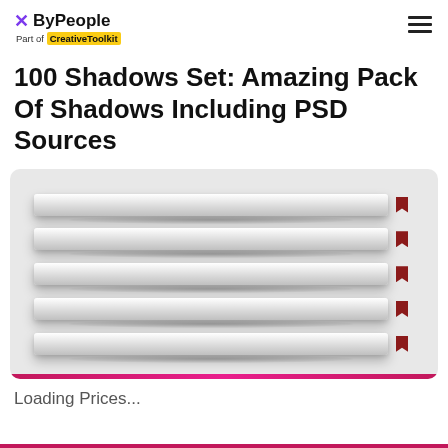ByPeople - Part of CreativeToolkit
100 Shadows Set: Amazing Pack Of Shadows Including PSD Sources
[Figure (illustration): Product preview showing five stacked white/grey card strips with drop shadows, each with a small dark red bookmark tab on the right side, on a light grey rounded-rectangle background.]
Loading Prices...